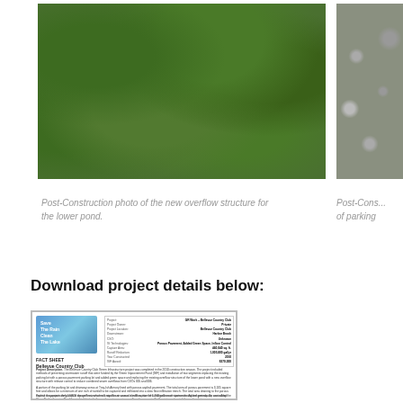[Figure (photo): Post-Construction photo showing green vegetation/plants growing on the new overflow structure for the lower pond]
[Figure (photo): Post-Construction photo of parking area, partially cropped on right side]
Post-Construction photo of the new overflow structure for the lower pond.
Post-Cons... of parking
Download project details below:
[Figure (screenshot): Thumbnail of a Fact Sheet document for Bellevue Country Club Green Infrastructure project, showing project details table and description text]